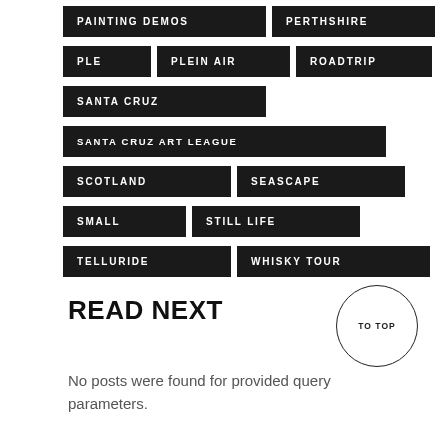PAINTING DEMOS
PERTHSHIRE
PLE
PLEIN AIR
ROADTRIP
SANTA CRUZ
SANTA CRUZ ART LEAGUE
SCOTLAND
SEASCAPE
SMALL
STILL LIFE
TELLURIDE
WHISKY TOUR
READ NEXT
TO TOP
No posts were found for provided query parameters.